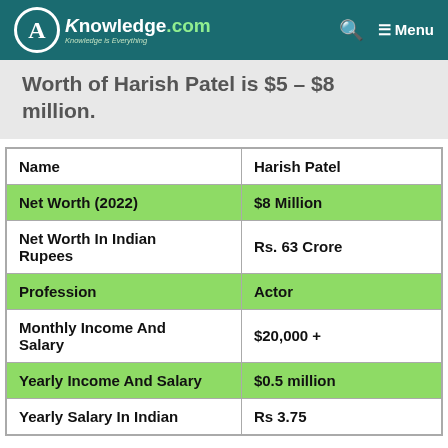AKnowledge.com — Knowledge is Everything | Menu
Worth of Harish Patel is $5 – $8 million.
| Name | Harish Patel |
| --- | --- |
| Net Worth (2022) | $8 Million |
| Net Worth In Indian Rupees | Rs. 63 Crore |
| Profession | Actor |
| Monthly Income And Salary | $20,000 + |
| Yearly Income And Salary | $0.5 million |
| Yearly Salary In Indian | Rs 3.75 |